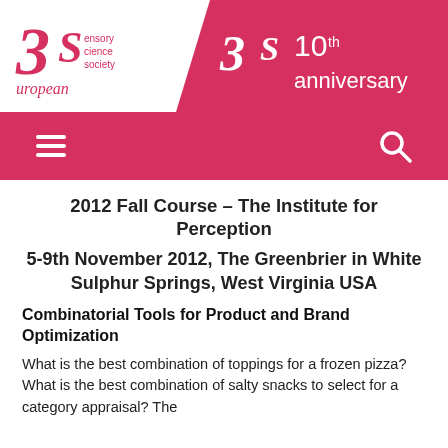[Figure (logo): 3S European Sensory Science Society logo with stylized '3S' lettering and 'sensory science society european' text]
[Figure (logo): 10th anniversary banner with pink parallelogram background, '3S' logo in white and '10th anniversary' text in white]
[Figure (infographic): Pink navigation bar with hamburger menu icon on left and search (magnifying glass) icon on right]
2012 Fall Course – The Institute for Perception
5-9th November 2012, The Greenbrier in White Sulphur Springs, West Virginia USA
Combinatorial Tools for Product and Brand Optimization
What is the best combination of toppings for a frozen pizza? What is the best combination of salty snacks to select for a category appraisal? The